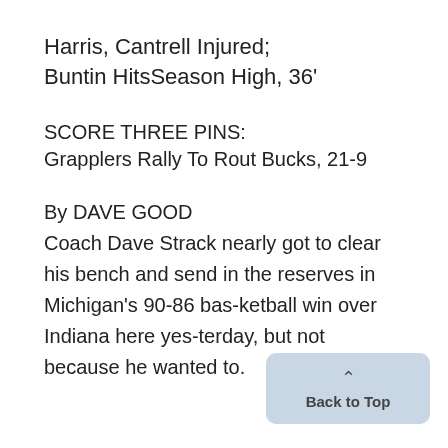Harris, Cantrell Injured;
Buntin HitsSeason High, 36'
SCORE THREE PINS:
Grapplers Rally To Rout Bucks, 21-9
By DAVE GOOD
Coach Dave Strack nearly got to clear his bench and send in the reserves in Michigan's 90-86 basketball win over Indiana here yesterday, but not because he wanted to.